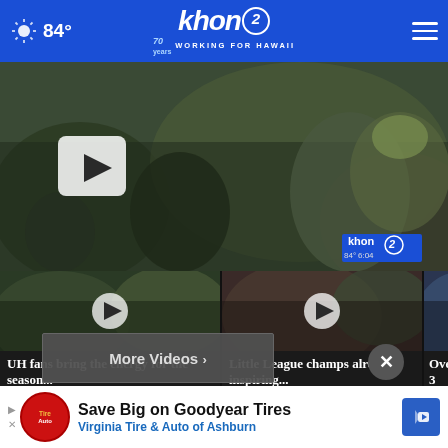84° khon2 WORKING FOR HAWAII 70 years
[Figure (screenshot): Hero video thumbnail showing crowd of fans in green at a University of Hawaii event, with play button overlay and khon2 watermark showing 84° 6:04]
[Figure (screenshot): Video thumbnail: UH fans bring the energy for the season... - 20 hours ago]
[Figure (screenshot): Video thumbnail: Little League champs already inspiring... - 21 hours ago]
[Figure (screenshot): Video thumbnail: Over 3... clean... - partially visible third card]
UH fans bring the energy for the season...
20 hours ago
Little League champs already inspiring...
21 hours ago
Over 3 clean
More Videos
[Figure (infographic): Advertisement: Save Big on Goodyear Tires - Virginia Tire & Auto of Ashburn with TireAuto logo and blue arrow icon]